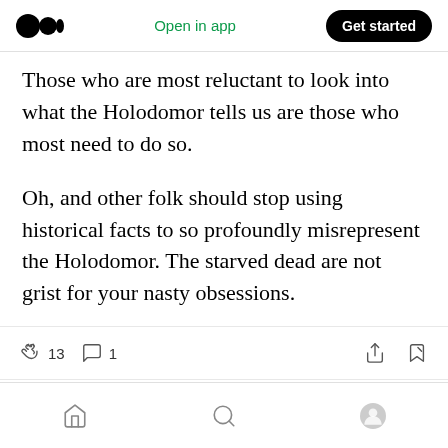Open in app | Get started
Those who are most reluctant to look into what the Holodomor tells us are those who most need to do so.
Oh, and other folk should stop using historical facts to so profoundly misrepresent the Holodomor. The starved dead are not grist for your nasty obsessions.
13 claps | 1 comment